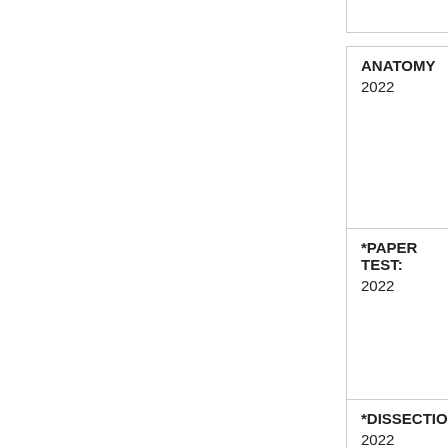ANATOMY
2022
*PAPER TEST:
2022
*DISSECTION:
2022
display all >>